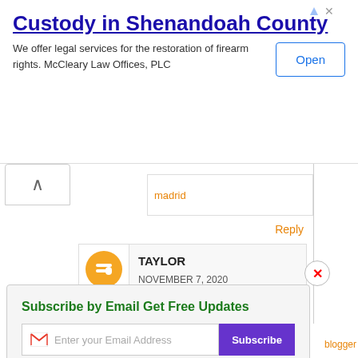[Figure (screenshot): Advertisement banner for McCleary Law Offices, PLC. Title: Custody in Shenandoah County. Description: We offer legal services for the restoration of firearm rights. McCleary Law Offices, PLC. Open button on right.]
madrid
Reply
TAYLOR
NOVEMBER 7, 2020
AT 2:49 AM
Subscribe by Email Get Free Updates
Enter your Email Address
Subscribe
Don't Forget To Join US Our Community